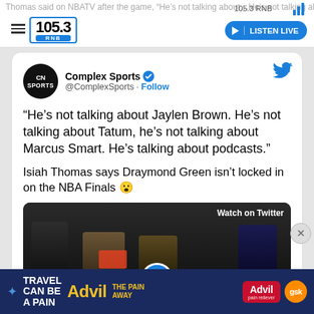105.3 RNB | LISTEN LIVE
[Figure (screenshot): Tweet from @ComplexSports: "He's not talking about Jaylen Brown. He's not talking about Tatum, he's not talking about Marcus Smart. He's talking about podcasts." Isiah Thomas says Draymond Green isn't locked in on the NBA Finals 😲. Includes a video thumbnail showing NBA TV panel with 'Watch on Twitter' overlay.]
[Figure (photo): Advertisement banner: Travel Can Be A Pain - Advil The Pain Away, with GSK branding.]